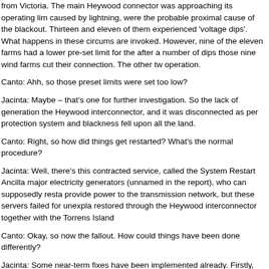from Victoria. The main Heywood connector was approaching its operating lim caused by lightning, were the probable proximal cause of the blackout. Thirteen and eleven of them experienced 'voltage dips'. What happens in these circums are invoked. However, nine of the eleven farms had a lower pre-set limit for the after a number of dips those nine wind farms cut their connection. The other tw operation.
Canto: Ahh, so those preset limits were set too low?
Jacinta: Maybe – that's one for further investigation. So the lack of generation the Heywood interconnector, and it was disconnected as per protection system and blackness fell upon all the land.
Canto: Right, so how did things get restarted? What's the normal procedure?
Jacinta: Well, there's this contracted service, called the System Restart Ancilla major electricity generators (unnamed in the report), who can supposedly resta provide power to the transmission network, but these servers failed for unexpla restored through the Heywood interconnector together with the Torrens Island
Canto: Okay, so now the fallout. How could things have been done differently?
Jacinta: Some near-term fixes have been implemented already. Firstly, having into here, and secondly in relation to wind farms. Five of them have made cha AEMO is looking at this issue for wind farms across the NEM. The Australian